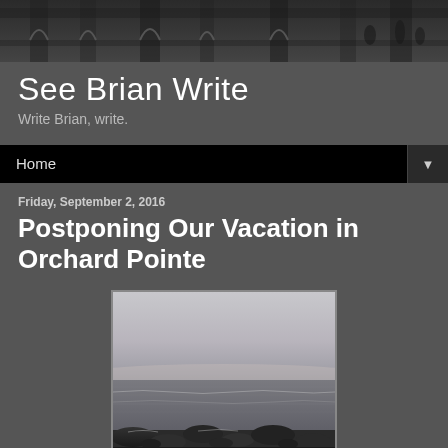[Figure (photo): Black and white banner photo of ornate building architecture with columns and decorative elements]
See Brian Write
Write Brian, write.
Home ▼
Friday, September 2, 2016
Postponing Our Vacation in Orchard Pointe
[Figure (photo): Photograph of ocean shoreline at dusk/sunset with rocky coastline in foreground and calm water and pale sky in background]